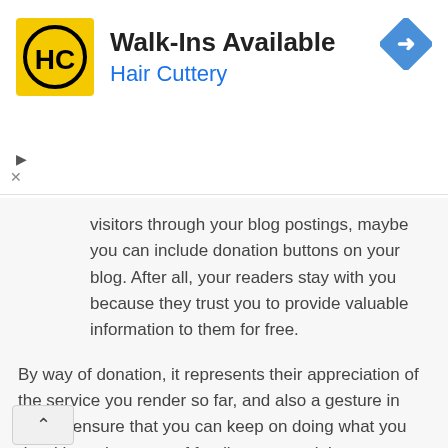[Figure (advertisement): Hair Cuttery advertisement banner with yellow logo, 'Walk-Ins Available' headline, blue 'Hair Cuttery' subheading, and a blue navigation/direction diamond icon on the right]
visitors through your blog postings, maybe you can include donation buttons on your blog. After all, your readers stay with you because they trust you to provide valuable information to them for free.
By way of donation, it represents their appreciation of the service you render so far, and also a gesture in kind to ensure that you can keep on doing what you do without the worry of funding or sustaining.
Popular payment processors offer ready-made donation buttons (that are customizable) that you can easily insert into your blog's HTML editor or main widget screen.